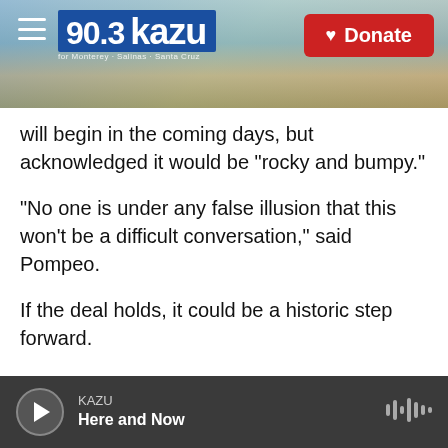[Figure (screenshot): KAZU 90.3 radio station header with logo, hamburger menu, coastal background image, and red Donate button]
will begin in the coming days, but acknowledged it would be "rocky and bumpy."
"No one is under any false illusion that this won't be a difficult conversation," said Pompeo.
If the deal holds, it could be a historic step forward.
A U.S.-led military coalition invaded Afghanistan shortly after the attacks on Sept. 11, 2001. The Taliban, which had been ruling the country for five years, were subsequently overthrown — reprisal for having provided safe harbor to Osama bin Laden,
KAZU — Here and Now (audio player bar)